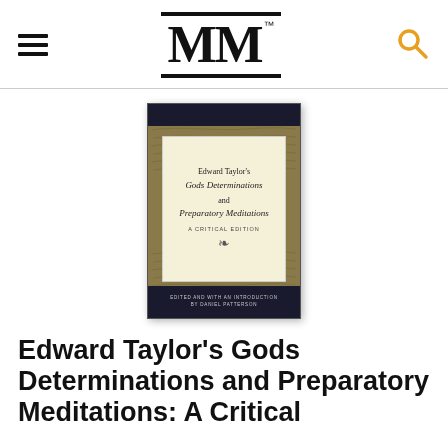MM™
[Figure (photo): Book cover of Edward Taylor's Gods Determinations and Preparatory Meditations: A Critical Edition, with a dark olive/brown manuscript background, a cream inner card with the title in serif italic font, and dark navy top and bottom bars. Bottom bar reads: 'Edited and with an introduction by Daniel Patterson'.]
Edward Taylor's Gods Determinations and Preparatory Meditations: A Critical